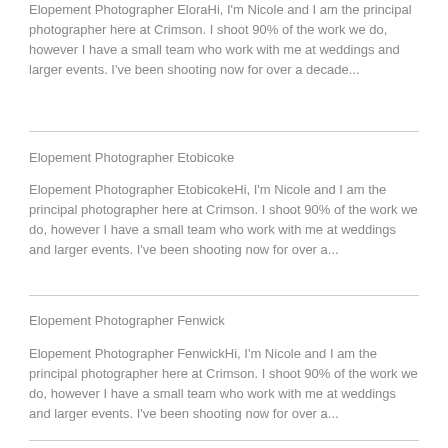Elopement Photographer EloraHi, I'm Nicole and I am the principal photographer here at Crimson. I shoot 90% of the work we do, however I have a small team who work with me at weddings and larger events. I've been shooting now for over a decade...
Elopement Photographer Etobicoke
Elopement Photographer EtobicokeHi, I'm Nicole and I am the principal photographer here at Crimson. I shoot 90% of the work we do, however I have a small team who work with me at weddings and larger events. I've been shooting now for over a...
Elopement Photographer Fenwick
Elopement Photographer FenwickHi, I'm Nicole and I am the principal photographer here at Crimson. I shoot 90% of the work we do, however I have a small team who work with me at weddings and larger events. I've been shooting now for over a...